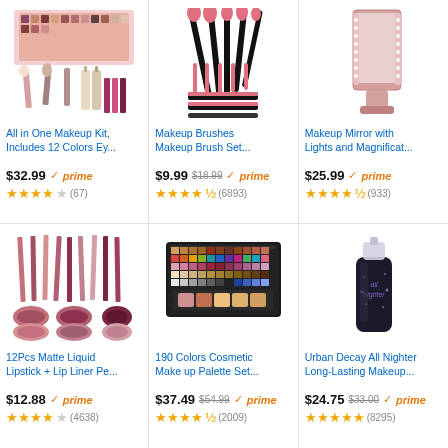[Figure (photo): All in One Makeup Kit product photo showing eyeshadow palette, brushes, foundations, and lip products]
All in One Makeup Kit, Includes 12 Colors Ey...
$32.99 prime
3.5 stars (67)
[Figure (photo): Makeup Brushes Set with pink and black handles]
Makeup Brushes Makeup Brush Set...
$9.99 $18.99 prime
4.5 stars (6893)
[Figure (photo): Makeup Mirror with lights, rose gold color]
Makeup Mirror with Lights and Magnificat...
$25.99 prime
4.5 stars (933)
[Figure (photo): 12Pcs Matte Liquid Lipstick and Lip Liner set with lip swatches]
12Pcs Matte Liquid Lipstick + Lip Liner Pe...
$12.88 prime
3.5 stars (4638)
[Figure (photo): 190 Colors Cosmetic Make up Palette Set with eyeshadow, blush, and bronzer]
190 Colors Cosmetic Make up Palette Set...
$37.49 $54.99 prime
4.5 stars (2009)
[Figure (photo): Urban Decay All Nighter Long-Lasting Makeup Setting Spray bottle]
Urban Decay All Nighter Long-Lasting Makeup...
$24.75 $33.00 prime
5 stars (8295)